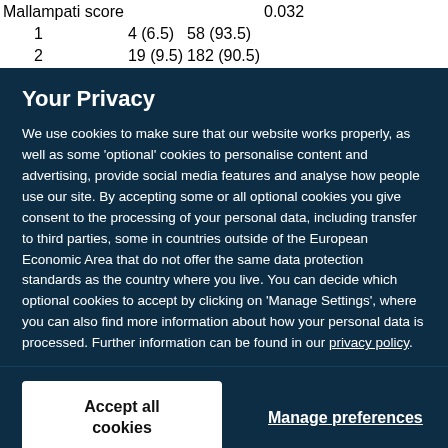|  |  |  |  |
| --- | --- | --- | --- |
| Mallampati score |  |  | 0.032 |
| 1 | 4 (6.5) | 58 (93.5) |  |
| 2 | 19 (9.5) | 182 (90.5) |  |
Your Privacy
We use cookies to make sure that our website works properly, as well as some 'optional' cookies to personalise content and advertising, provide social media features and analyse how people use our site. By accepting some or all optional cookies you give consent to the processing of your personal data, including transfer to third parties, some in countries outside of the European Economic Area that do not offer the same data protection standards as the country where you live. You can decide which optional cookies to accept by clicking on 'Manage Settings', where you can also find more information about how your personal data is processed. Further information can be found in our privacy policy.
Accept all cookies
Manage preferences